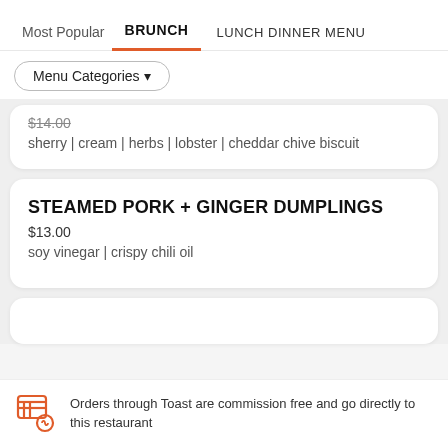Most Popular  BRUNCH  LUNCH DINNER MENU
Menu Categories ▼
$14.00
sherry | cream | herbs | lobster | cheddar chive biscuit
STEAMED PORK + GINGER DUMPLINGS
$13.00
soy vinegar | crispy chili oil
Orders through Toast are commission free and go directly to this restaurant